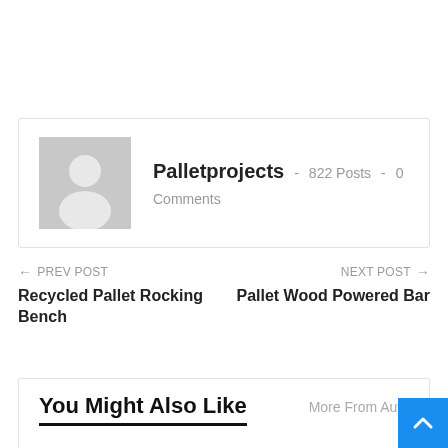Palletprojects - 822 Posts - 0 Comments
← PREV POST
Recycled Pallet Rocking Bench
NEXT POST →
Pallet Wood Powered Bar
You Might Also Like
More From Auth